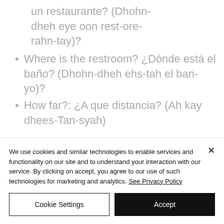un restaurante? (Dhohn-dheh eye oon rest-ore-rahn-tay)?
Where is the restroom? ¿Dónde está el baño? (Dhohn-dheh ehs-tah el ban-yo)?
How far?: ¿A que distancia? (Ah kay dhees-Tan-syah)
We use cookies and similar technologies to enable services and functionality on our site and to understand your interaction with our service. By clicking on accept, you agree to our use of such technologies for marketing and analytics. See Privacy Policy
Cookie Settings
Accept